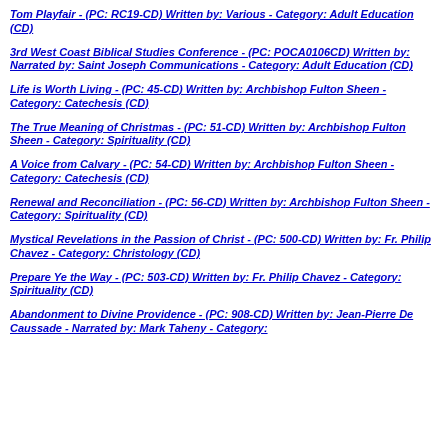Tom Playfair - (PC: RC19-CD) Written by: Various - Category: Adult Education (CD)
3rd West Coast Biblical Studies Conference - (PC: POCA0106CD) Written by: Narrated by: Saint Joseph Communications - Category: Adult Education (CD)
Life is Worth Living - (PC: 45-CD) Written by: Archbishop Fulton Sheen - Category: Catechesis (CD)
The True Meaning of Christmas - (PC: 51-CD) Written by: Archbishop Fulton Sheen - Category: Spirituality (CD)
A Voice from Calvary - (PC: 54-CD) Written by: Archbishop Fulton Sheen - Category: Catechesis (CD)
Renewal and Reconciliation - (PC: 56-CD) Written by: Archbishop Fulton Sheen - Category: Spirituality (CD)
Mystical Revelations in the Passion of Christ - (PC: 500-CD) Written by: Fr. Philip Chavez - Category: Christology (CD)
Prepare Ye the Way - (PC: 503-CD) Written by: Fr. Philip Chavez - Category: Spirituality (CD)
Abandonment to Divine Providence - (PC: 908-CD) Written by: Jean-Pierre De Caussade - Narrated by: Mark Taheny - Category: